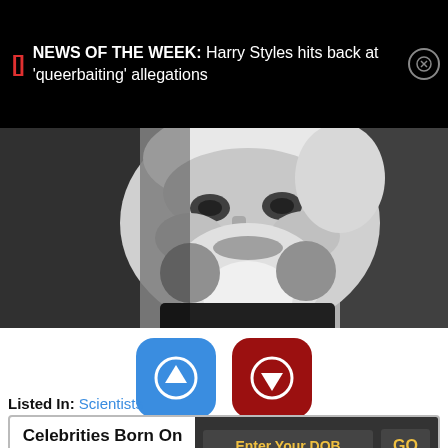NEWS OF THE WEEK: Harry Styles hits back at 'queerbaiting' allegations
[Figure (photo): Black and white close-up portrait of an elderly bearded man with white hair and a full white beard]
[Figure (infographic): Blue upvote button and dark red downvote button with counts: 1 upvote, 0 downvotes]
Listed In: Scientists
Celebrities Born On My Birthday? Enter Your DOB GO